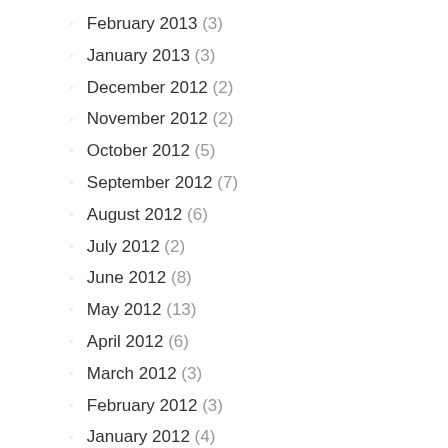February 2013 (3)
January 2013 (3)
December 2012 (2)
November 2012 (2)
October 2012 (5)
September 2012 (7)
August 2012 (6)
July 2012 (2)
June 2012 (8)
May 2012 (13)
April 2012 (6)
March 2012 (3)
February 2012 (3)
January 2012 (4)
December 2011 (4)
November 2011 (4)
October 2011 (1)
September 2011 (3)